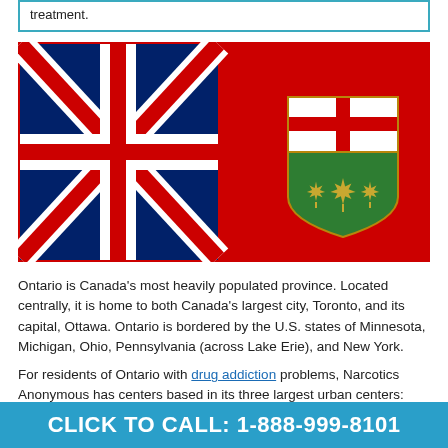treatment.
[Figure (illustration): Flag of Ontario, Canada: red background with Union Jack in upper left quarter and Ontario shield (white cross on top half, green lower half with three gold maple leaves) on right side.]
Ontario is Canada's most heavily populated province. Located centrally, it is home to both Canada's largest city, Toronto, and its capital, Ottawa. Ontario is bordered by the U.S. states of Minnesota, Michigan, Ohio, Pennsylvania (across Lake Erie), and New York.
For residents of Ontario with drug addiction problems, Narcotics Anonymous has centers based in its three largest urban centers:
CLICK TO CALL: 1-888-999-8101